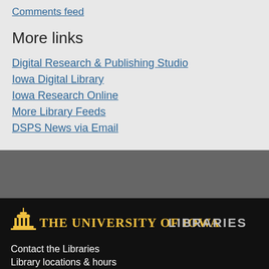Comments feed
More links
Digital Research & Publishing Studio
Iowa Digital Library
Iowa Research Online
More Library Feeds
DSPS News via Email
[Figure (logo): The University of Iowa Libraries logo with gold capitol building icon]
Contact the Libraries
Library locations & hours
News & Events
Help using the Libraries
Assistance for people with disabilities
Our diversity statement